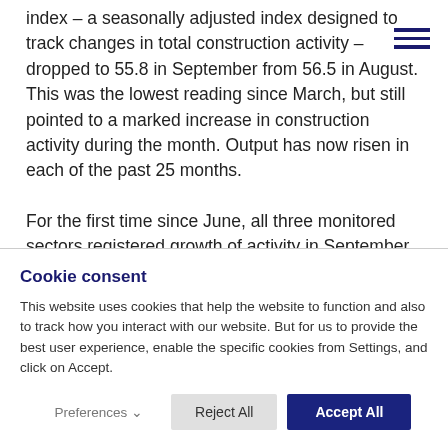index – a seasonally adjusted index designed to track changes in total construction activity – dropped to 55.8 in September from 56.5 in August. This was the lowest reading since March, but still pointed to a marked increase in construction activity during the month. Output has now risen in each of the past 25 months.
For the first time since June, all three monitored sectors registered growth of activity in September. The sharpest expansion was for activity on
Cookie consent
This website uses cookies that help the website to function and also to track how you interact with our website. But for us to provide the best user experience, enable the specific cookies from Settings, and click on Accept.